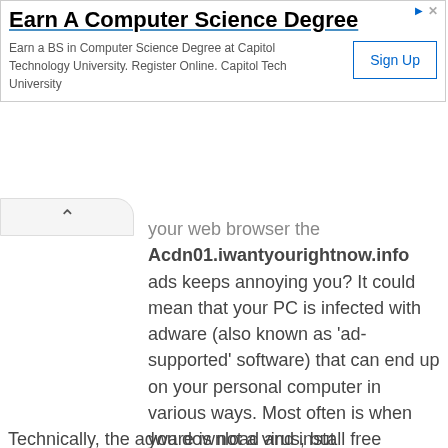[Figure (other): Advertisement banner for Capitol Technology University: 'Earn A Computer Science Degree' with Sign Up button]
your web browser the Acdn01.iwantyourightnow.info ads keeps annoying you? It could mean that your PC is infected with adware (also known as 'ad-supported' software) that can end up on your personal computer in various ways. Most often is when you download and install free applications and forget to uncheck the box for the optional applications installation. Don't panic because we have got the solution. Here's a tutorial on how to get rid of unwanted Acdn01.iwantyourightnow.info advertisements from the Google Chrome, FF, Microsoft Internet Explorer and Microsoft Edge and other web-browsers.
Technically, the adware is not a virus, but